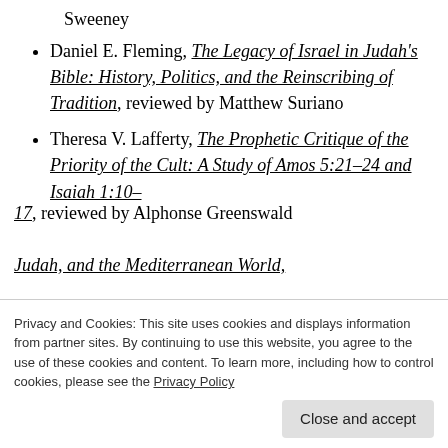Sweeney
Daniel E. Fleming, The Legacy of Israel in Judah's Bible: History, Politics, and the Reinscribing of Tradition, reviewed by Matthew Suriano
Theresa V. Lafferty, The Prophetic Critique of the Priority of the Cult: A Study of Amos 5:21–24 and Isaiah 1:10–17, reviewed by Alphonse Greenswald
Judah, and the Mediterranean World,
Privacy and Cookies: This site uses cookies and displays information from partner sites. By continuing to use this website, you agree to the use of these cookies and content. To learn more, including how to control cookies, please see the Privacy Policy